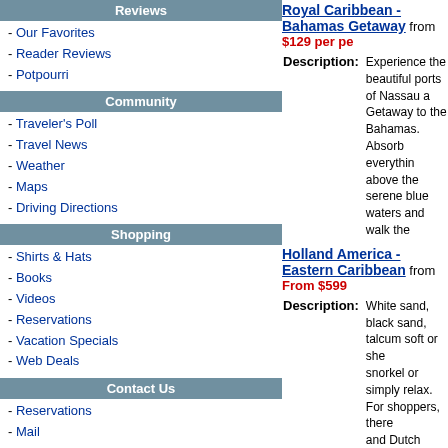Reviews
Our Favorites
Reader Reviews
Potpourri
Community
Traveler's Poll
Travel News
Weather
Maps
Driving Directions
Shopping
Shirts & Hats
Books
Videos
Reservations
Vacation Specials
Web Deals
Contact Us
Reservations
Mail
Feedback
Suggest-a-Site
About Us
Travel Resources
Reservations
Destinations
Hotels
Air Travel
Cruise Travel
News/Weather
Royal Caribbean - Bahamas Getaway from $129 per pe
Description: Experience the beautiful ports of Nassau and... Getaway to the Bahamas. Absorb everything above the serene blue waters and walk the
Holland America - Eastern Caribbean from From $599
Description: White sand, black sand, talcum soft or shell... snorkel or simply relax. For shoppers, there... and Dutch chocolates on St. Maarten. For b... cultures. For everyone, a day spent on HAL
Celebrity - 7-Night Western Mediterranean from $549 p
Description: For centuries people have traveled to Europe... best way to do so is by cruise ship. Think of... hotels and negotiating train stations. Instead... take on the world.
More Vacation a